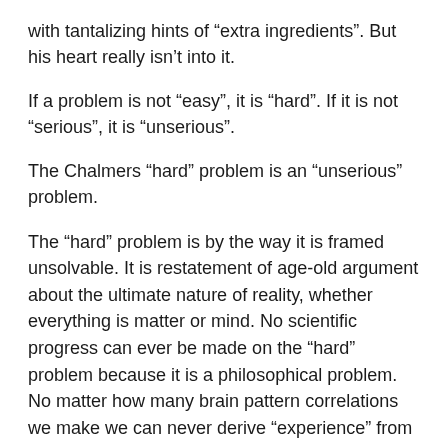with tantalizing hints of “extra ingredients”. But his heart really isn’t into it.
If a problem is not “easy”, it is “hard”. If it is not “serious”, it is “unserious”.
The Chalmers “hard” problem is an “unserious” problem.
The “hard” problem is by the way it is framed unsolvable. It is restatement of age-old argument about the ultimate nature of reality, whether everything is matter or mind. No scientific progress can ever be made on the “hard” problem because it is a philosophical problem. No matter how many brain pattern correlations we make we can never derive “experience” from them. We can never prove the ultimate reality to be mind, matter, some combination, or something else we will never have a clue about. If I had to end on a hint, I would hint that that some can build